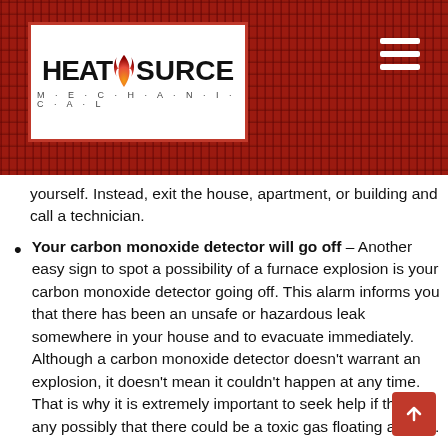[Figure (logo): HeatSource Mechanical logo on white background with red border, set in a dark red wood-textured banner. Hamburger menu icon top right.]
yourself. Instead, exit the house, apartment, or building and call a technician.
Your carbon monoxide detector will go off – Another easy sign to spot a possibility of a furnace explosion is your carbon monoxide detector going off. This alarm informs you that there has been an unsafe or hazardous leak somewhere in your house and to evacuate immediately. Although a carbon monoxide detector doesn't warrant an explosion, it doesn't mean it couldn't happen at any time. That is why it is extremely important to seek help if there's any possibly that there could be a toxic gas floating around.
Weird noises coming from the furnace – If you